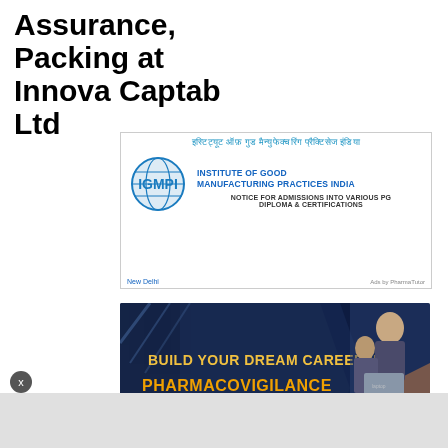Assurance, Packing at Innova Captab Ltd
[Figure (advertisement): IGMPI - Institute of Good Manufacturing Practices India advertisement. Hindi text at top in blue. Logo with globe and IGMPI text on left. Blue bold text: INSTITUTE OF GOOD MANUFACTURING PRACTICES INDIA. Below: NOTICE FOR ADMISSIONS INTO VARIOUS PG DIPLOMA & CERTIFICATIONS. Footer: New Delhi on left, Ads by PharmaTutor on right.]
[Figure (advertisement): Clini India advertisement with dark navy/blue background. Gold bold text: BUILD YOUR DREAM CAREER IN. Orange bold text: PHARMACOVIGILANCE. Red button: APPLY NOW with cursor icon. Clini India logo with molecular circles on bottom left. People working on laptop on right side.]